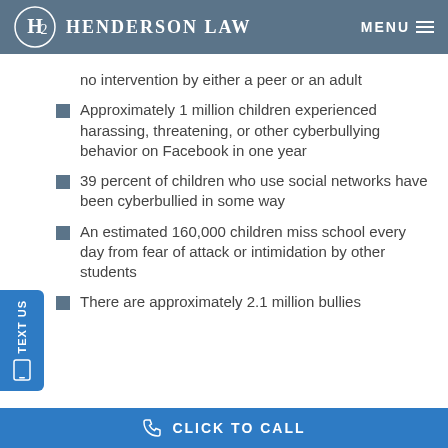Henderson Law  MENU
no intervention by either a peer or an adult
Approximately 1 million children experienced harassing, threatening, or other cyberbullying behavior on Facebook in one year
39 percent of children who use social networks have been cyberbullied in some way
An estimated 160,000 children miss school every day from fear of attack or intimidation by other students
There are approximately 2.1 million bullies
CLICK TO CALL